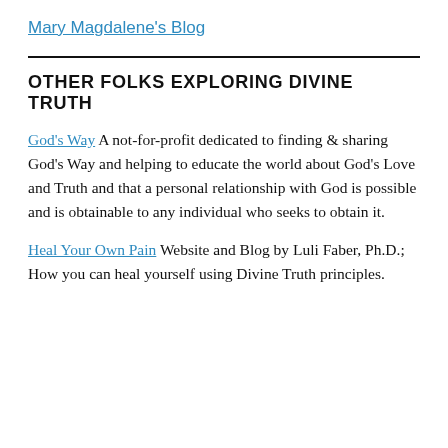Mary Magdalene's Blog
OTHER FOLKS EXPLORING DIVINE TRUTH
God's Way A not-for-profit dedicated to finding & sharing God's Way and helping to educate the world about God's Love and Truth and that a personal relationship with God is possible and is obtainable to any individual who seeks to obtain it.
Heal Your Own Pain Website and Blog by Luli Faber, Ph.D.; How you can heal yourself using Divine Truth principles.